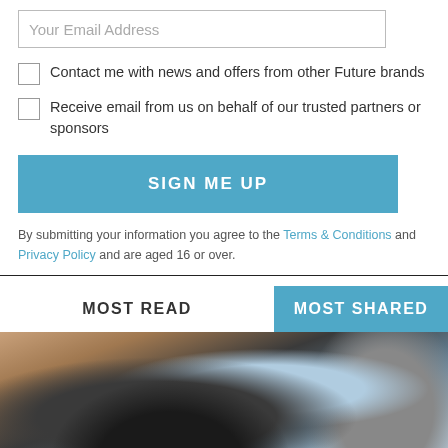Your Email Address
Contact me with news and offers from other Future brands
Receive email from us on behalf of our trusted partners or sponsors
SIGN ME UP
By submitting your information you agree to the Terms & Conditions and Privacy Policy and are aged 16 or over.
MOST READ
MOST SHARED
[Figure (photo): Photo showing a laptop keyboard, camera, and smartphone on a desk surface]